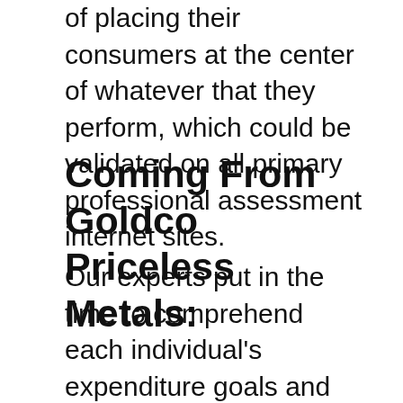of placing their consumers at the center of whatever that they perform, which could be validated on all primary professional assessment internet sites.
Coming From Goldco Priceless Metals:
Our experts put in the time to comprehend each individual's expenditure goals and purposes. Our company also give them the information and sources they require to develop a rare-earth elements collection that are going to help them meet their targets. Our service and also track record are built on trust, and the connections our clients construct with their individual Gold individual retirement account specialists are an